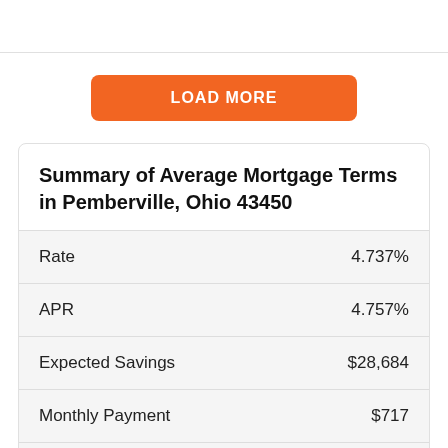[Figure (other): Top navigation/header bar with white background and bottom border]
LOAD MORE
Summary of Average Mortgage Terms in Pemberville, Ohio 43450
|  |  |
| --- | --- |
| Rate | 4.737% |
| APR | 4.757% |
| Expected Savings | $28,684 |
| Monthly Payment | $717 |
| Total Closing Costs | $581 |